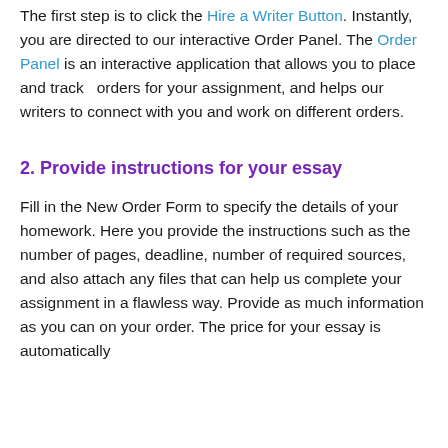The first step is to click the Hire a Writer Button. Instantly, you are directed to our interactive Order Panel. The Order Panel is an interactive application that allows you to place and track  orders for your assignment, and helps our writers to connect with you and work on different orders.
2. Provide instructions for your essay
Fill in the New Order Form to specify the details of your homework. Here you provide the instructions such as the number of pages, deadline, number of required sources, and also attach any files that can help us complete your assignment in a flawless way. Provide as much information as you can on your order. The price for your essay is automatically